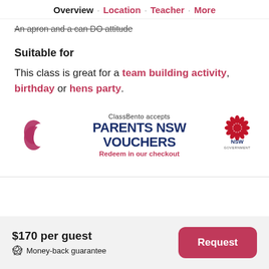Overview · Location · Teacher · More
An apron and a can DO attitude
Suitable for
This class is great for a team building activity, birthday or hens party.
[Figure (logo): ClassBento logo (dark pink double-C shape), Parents NSW Vouchers badge with text 'ClassBento accepts PARENTS NSW VOUCHERS Redeem in our checkout', and NSW Government logo]
$170 per guest
Money-back guarantee
Request